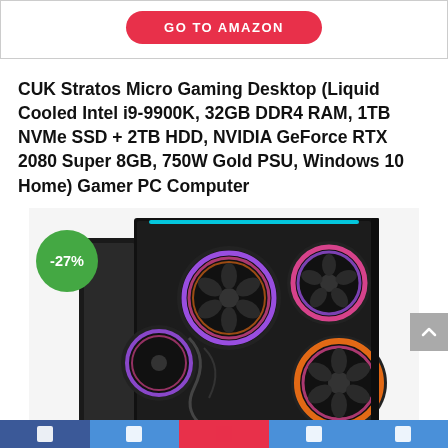[Figure (other): Red rounded button labeled GO TO AMAZON at top of page]
CUK Stratos Micro Gaming Desktop (Liquid Cooled Intel i9-9900K, 32GB DDR4 RAM, 1TB NVMe SSD + 2TB HDD, NVIDIA GeForce RTX 2080 Super 8GB, 750W Gold PSU, Windows 10 Home) Gamer PC Computer
[Figure (photo): Photo of CUK Stratos Micro Gaming Desktop PC case with RGB fans and open side panel, showing internal components. A green discount badge with -27% overlays the bottom-left of the image. A grey scroll-to-top arrow button is at the right edge.]
Bottom navigation bar with icons